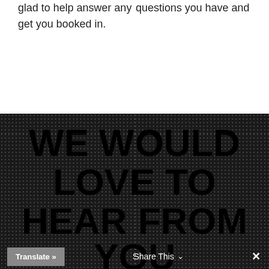glad to help answer any questions you have and get you booked in.
WE WOULD LOVE TO HEAR FROM YOU
Translate »  Share This  ×